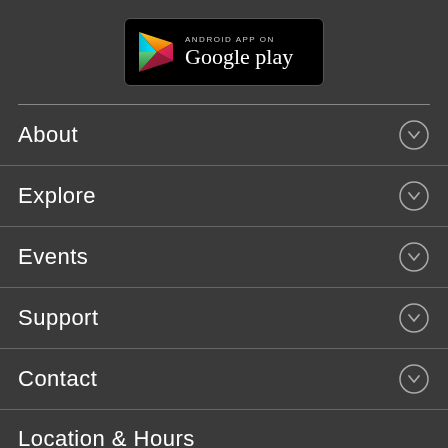[Figure (logo): Android App on Google Play badge with colorful play button triangle logo on black background]
About
Explore
Events
Support
Contact
Location & Hours